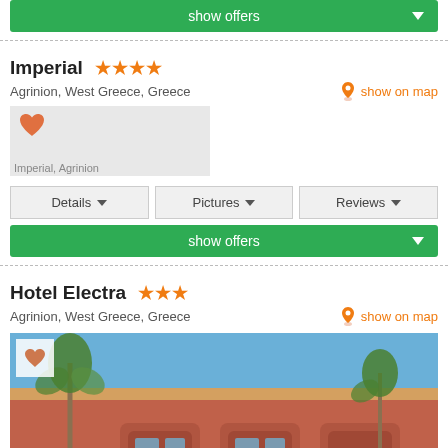[Figure (screenshot): Green 'show offers' button with dropdown arrow at top of page]
Imperial ★★★★
Agrinion, West Greece, Greece
show on map
[Figure (photo): Placeholder image for Imperial hotel, Agrinion with heart icon overlay]
Details  Pictures  Reviews
[Figure (screenshot): Green 'show offers' button with dropdown arrow]
Hotel Electra ★★★
Agrinion, West Greece, Greece
show on map
[Figure (photo): Photo of Hotel Electra building with palm trees, red/terracotta facade, arches, and blue sky. Heart icon in white box overlay at top left.]